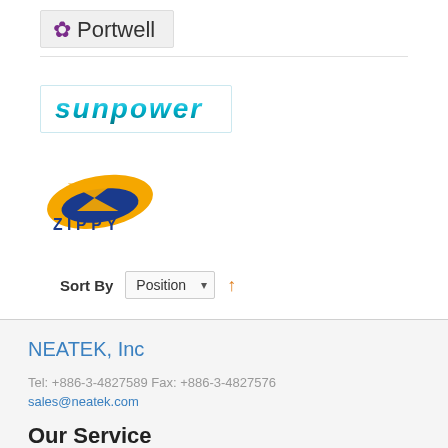[Figure (logo): Portwell logo with purple flower/snowflake icon and 'Portwell' text in gray]
[Figure (logo): Sunpower logo in italic teal/blue stylized text]
[Figure (logo): Zippy logo with orange and blue Z graphic and ZIPPY text in blue]
Sort By   Position ↑
NEATEK, Inc
Tel: +886-3-4827589 Fax: +886-3-4827576
sales@neatek.com
Our Service
Payment & Shipping Contact Us RMA
© 2022 Neatek, Inc